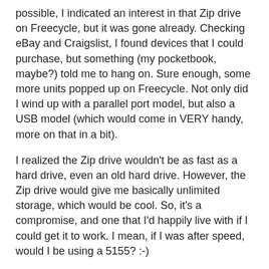possible, I indicated an interest in that Zip drive on Freecycle, but it was gone already. Checking eBay and Craigslist, I found devices that I could purchase, but something (my pocketbook, maybe?) told me to hang on. Sure enough, some more units popped up on Freecycle. Not only did I wind up with a parallel port model, but also a USB model (which would come in VERY handy, more on that in a bit).
I realized the Zip drive wouldn't be as fast as a hard drive, even an old hard drive. However, the Zip drive would give me basically unlimited storage, which would be cool. So, it's a compromise, and one that I'd happily live with if I could get it to work. I mean, if I was after speed, would I be using a 5155? :-)
The famous "Chicken And The Egg"
OK - so now, I've got a parallel Zip drive, and an IBM 5155 with no drivers for a Zip drive. Once I get the Zip drive working, I can easily move files to/from the 5155. But until I do?